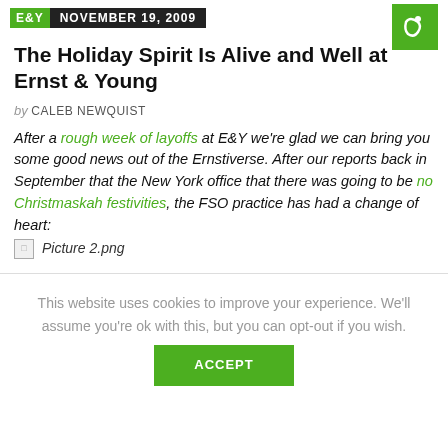E&Y  NOVEMBER 19, 2009
The Holiday Spirit Is Alive and Well at Ernst & Young
by CALEB NEWQUIST
After a rough week of layoffs at E&Y we're glad we can bring you some good news out of the Ernstiverse. After our reports back in September that the New York office that there was going to be no Christmaskah festivities, the FSO practice has had a change of heart:
[Figure (other): Broken image placeholder labeled 'Picture 2.png']
This website uses cookies to improve your experience. We'll assume you're ok with this, but you can opt-out if you wish. ACCEPT